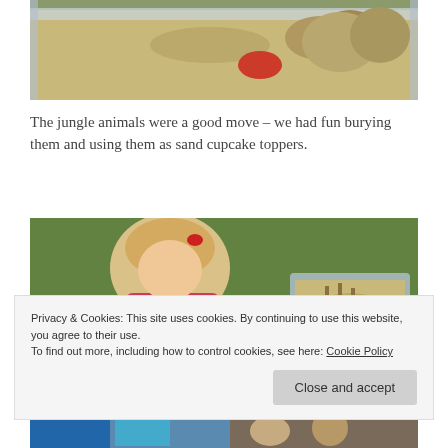[Figure (photo): Close-up photo of a plastic storage bin filled with sand, showing sand mounds and a red toy, set on grass]
The jungle animals were a good move – we had fun burying them and using them as sand cupcake toppers.
[Figure (photo): A young blonde girl in a pink top playing outdoors near a sand-filled plastic bin with small dinosaur toys in the sand, watermark reads Twin Talk]
Privacy & Cookies: This site uses cookies. By continuing to use this website, you agree to their use.
To find out more, including how to control cookies, see here: Cookie Policy
[Figure (photo): Bottom partial photo showing colorful toys and children outdoors]